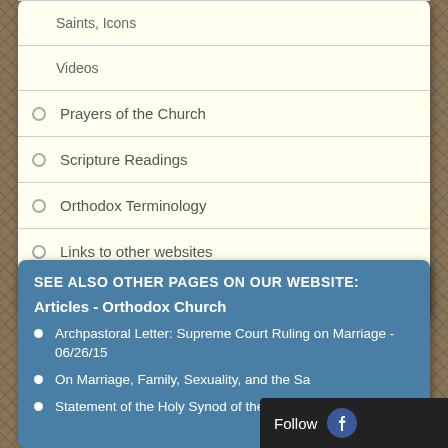Saints, Icons
Videos
Prayers of the Church
Scripture Readings
Orthodox Terminology
Links to other websites
Feeds from other websites
SEE ALSO OTHER PAGES ON OUR WEBSITE:
Articles - Orthodox Church
Archpastoral Letter: Supreme Court Ruling on Marriage - 06/26/15
On Marriage, Family, Sexuality, and the Sa...
Statement of the Holy Synod of the OCA o...